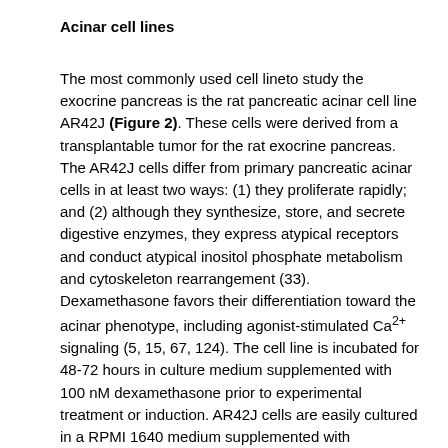Acinar cell lines
The most commonly used cell lineto study the exocrine pancreas is the rat pancreatic acinar cell line AR42J (Figure 2). These cells were derived from a transplantable tumor for the rat exocrine pancreas. The AR42J cells differ from primary pancreatic acinar cells in at least two ways: (1) they proliferate rapidly; and (2) although they synthesize, store, and secrete digestive enzymes, they express atypical receptors and conduct atypical inositol phosphate metabolism and cytoskeleton rearrangement (33). Dexamethasone favors their differentiation toward the acinar phenotype, including agonist-stimulated Ca2+ signaling (5, 15, 67, 124). The cell line is incubated for 48-72 hours in culture medium supplemented with 100 nM dexamethasone prior to experimental treatment or induction. AR42J cells are easily cultured in a RPMI 1640 medium supplemented with